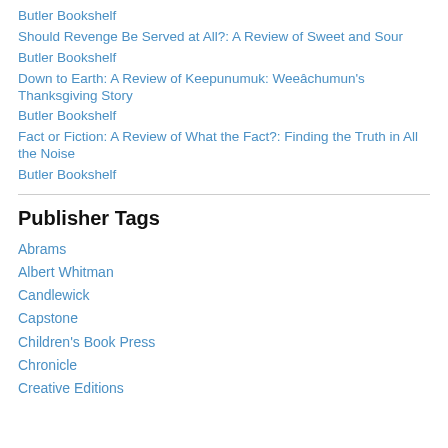Butler Bookshelf
Should Revenge Be Served at All?: A Review of Sweet and Sour
Butler Bookshelf
Down to Earth: A Review of Keepunumuk: Weeâchumun's Thanksgiving Story
Butler Bookshelf
Fact or Fiction: A Review of What the Fact?: Finding the Truth in All the Noise
Butler Bookshelf
Publisher Tags
Abrams
Albert Whitman
Candlewick
Capstone
Children's Book Press
Chronicle
Creative Editions